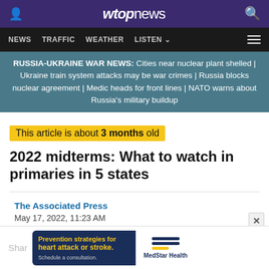WTOP News
NEWS  TRAFFIC  WEATHER  LISTEN
RUSSIA-UKRAINE WAR NEWS: Cities near nuclear plant shelled | Ukraine train system attacks may be war crimes | Russia blocks nuclear agreement | Medic heads for front lines | NATO warns about Russia's military buildup
This article is about 3 months old
2022 midterms: What to watch in primaries in 5 states
The Associated Press
May 17, 2022, 11:23 AM
[Figure (screenshot): MedStar Health advertisement: Prevention strategies for heart attack or stroke. Schedule a consultation.]